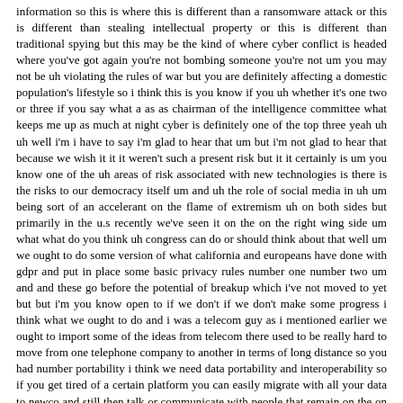information so this is where this is different than a ransomware attack or this is different than stealing intellectual property or this is different than traditional spying but this may be the kind of where cyber conflict is headed where you've got again you're not bombing someone you're not um you may not be uh violating the rules of war but you are definitely affecting a domestic population's lifestyle so i think this is you know if you uh whether it's one two or three if you say what a as as chairman of the intelligence committee what keeps me up as much at night cyber is definitely one of the top three yeah uh uh well i'm i have to say i'm glad to hear that um but i'm not glad to hear that because we wish it it it weren't such a present risk but it it certainly is um you know one of the uh areas of risk associated with new technologies is there is the risks to our democracy itself um and uh the role of social media in uh um being sort of an accelerant on the flame of extremism uh on both sides but primarily in the u.s recently we've seen it on the on the right wing side um what what do you think uh congress can do or should think about that well um we ought to do some version of what california and europeans have done with gdpr and put in place some basic privacy rules number one number two um and and these go before the potential of breakup which i've not moved to yet but but i'm you know open to if we don't if we don't make some progress i think what we ought to do and i was a telecom guy as i mentioned earlier we ought to import some of the ideas from telecom there used to be really hard to move from one telephone company to another in terms of long distance so you had number portability i think we need data portability and interoperability so if you get tired of a certain platform you can easily migrate with all your data to newco and still then talk or communicate with people that remain on the on the the previous platform so data portability i think and this is something again i know the california legislature looked at uh but wasn't able to cross the line and this may probably would be too too much for the american congress to grapple with but i think you know the idea that facebook and google and twitter and so forth are free you and i both know they're not free their their